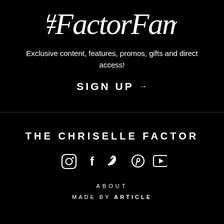[Figure (illustration): Handwritten white script text '#FactorFam' on black background]
Exclusive content, features, promos, gifts and direct access!
SIGN UP →
THE CHRISELLE FACTOR
[Figure (illustration): Social media icons: Instagram, Facebook, Twitter, Pinterest, YouTube]
ABOUT
MADE BY ARTICLE